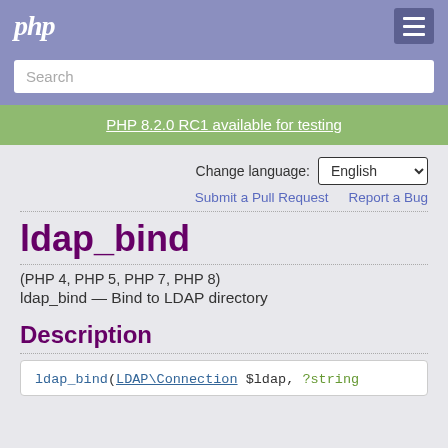php
Search
PHP 8.2.0 RC1 available for testing
Change language: English
Submit a Pull Request   Report a Bug
ldap_bind
(PHP 4, PHP 5, PHP 7, PHP 8)
ldap_bind — Bind to LDAP directory
Description
ldap_bind(LDAP\Connection $ldap, ?string $dn = null, ?string $password = null)